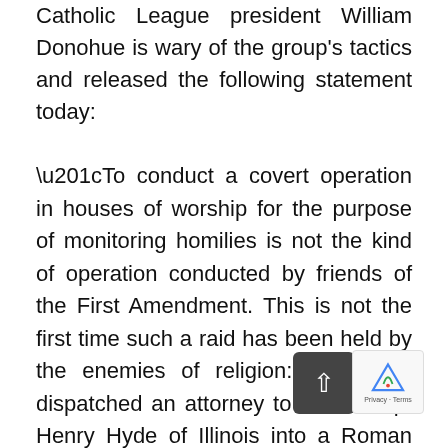Catholic League president William Donohue is wary of the group's tactics and released the following statement today:
“To conduct a covert operation in houses of worship for the purpose of monitoring homilies is not the kind of operation conducted by friends of the First Amendment. This is not the first time such a raid has been held by the enemies of religion: the ACLU dispatched an attorney to follow Rep. Henry Hyde of Illinois into a Roman Catholic Church in the 1970s to spy on his activities (the ACLU was trying to show